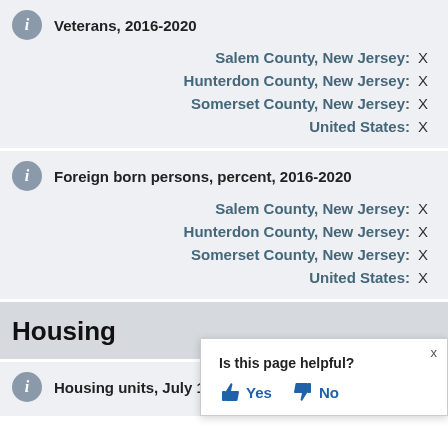Veterans, 2016-2020
Salem County, New Jersey: X
Hunterdon County, New Jersey: X
Somerset County, New Jersey: X
United States: X
Foreign born persons, percent, 2016-2020
Salem County, New Jersey: X
Hunterdon County, New Jersey: X
Somerset County, New Jersey: X
United States: X
Housing
Housing units, July 1, 2021, (V